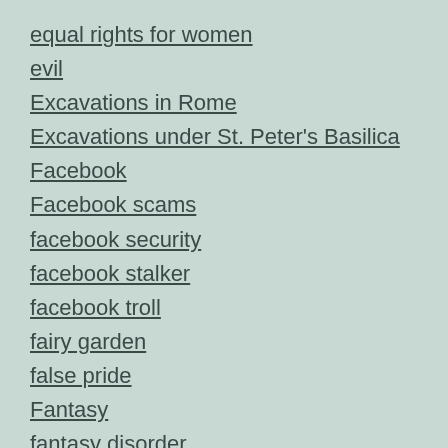equal rights for women
evil
Excavations in Rome
Excavations under St. Peter's Basilica
Facebook
Facebook scams
facebook security
facebook stalker
facebook troll
fairy garden
false pride
Fantasy
fantasy disorder